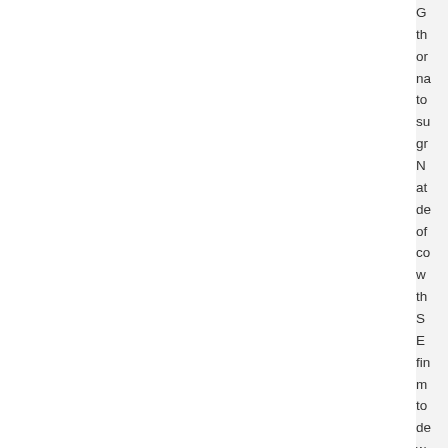G th or na to su gr N at de of co w th S E fin m to de w or th m fri